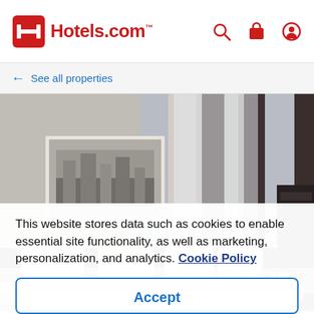Hotels.com
← See all properties
[Figure (photo): Hotel room interior photo showing bed with white pillows, wall art (black and white cityscape), warm wall sconces, large windows with dark curtains and sheer drapes, and a lamp. Carousel navigation arrows visible on left and right.]
This website stores data such as cookies to enable essential site functionality, as well as marketing, personalization, and analytics. Cookie Policy
Accept
Deny
Hanzer Hotel